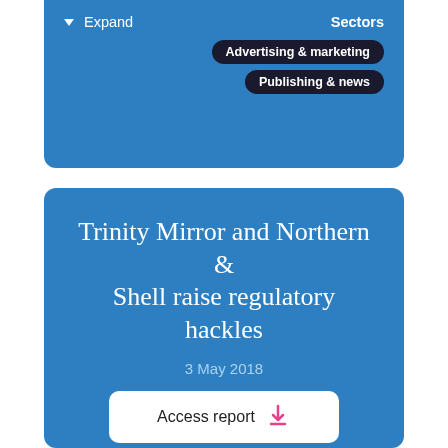Expand    Sectors
Advertising & marketing
Publishing & news
Trinity Mirror and Northern & Shell raise regulatory hackles
3 May 2018
Access report
Expand    Sectors
Public policy & regulation